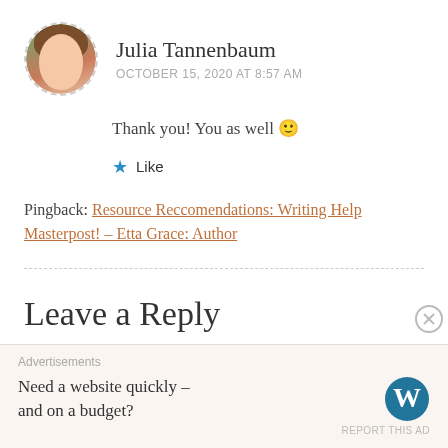Julia Tannenbaum
OCTOBER 15, 2020 AT 8:57 AM
Thank you! You as well 🙂
★ Like
Pingback: Resource Reccomendations: Writing Help Masterpost! – Etta Grace: Author
Leave a Reply
Advertisements
Need a website quickly – and on a budget?